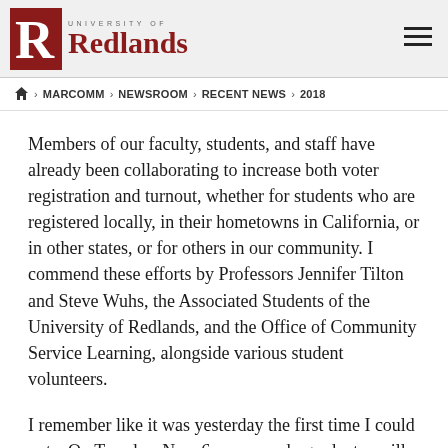University of Redlands
Home > MARCOMM > NEWSROOM > RECENT NEWS > 2018
Members of our faculty, students, and staff have already been collaborating to increase both voter registration and turnout, whether for students who are registered locally, in their hometowns in California, or in other states, or for others in our community. I commend these efforts by Professors Jennifer Tilton and Steve Wuhs, the Associated Students of the University of Redlands, and the Office of Community Service Learning, alongside various student volunteers.
I remember like it was yesterday the first time I could vote. On Tuesday, Nov. 6, many undergraduates will also